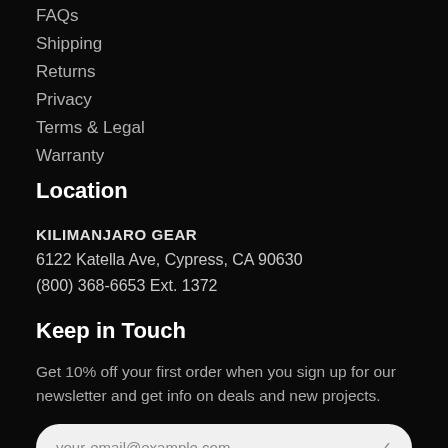FAQs
Shipping
Returns
Privacy
Terms & Legal
Warranty
Location
KILIMANJARO GEAR
6122 Katella Ave, Cypress, CA 90630
(800) 368-6653 Ext. 1372
Keep in Touch
Get 10% off your first order when you sign up for our newsletter and get info on deals and new projects.
your-email@example.com